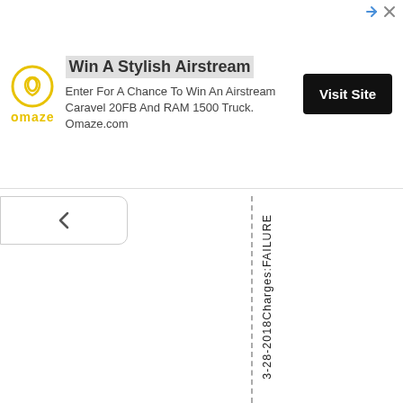[Figure (other): Omaze advertisement banner. Logo of Omaze (yellow circle with white symbol). Title: 'Win A Stylish Airstream'. Body: 'Enter For A Chance To Win An Airstream Caravel 20FB And RAM 1500 Truck. Omaze.com'. Button: 'Visit Site'.]
3-28-2018Charges:FAILURE